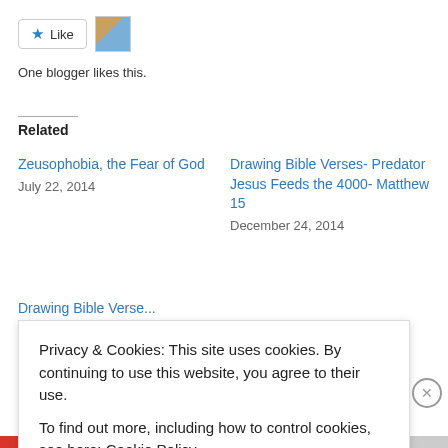[Figure (other): Like button with star icon and blogger avatar thumbnail]
One blogger likes this.
Related
Zeusophobia, the Fear of God
July 22, 2014
Drawing Bible Verses- Predator Jesus Feeds the 4000- Matthew 15
December 24, 2014
Privacy & Cookies: This site uses cookies. By continuing to use this website, you agree to their use. To find out more, including how to control cookies, see here: Cookie Policy.
Close and accept